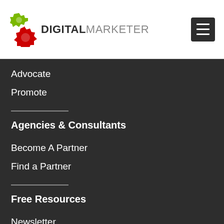[Figure (logo): Digital Marketer logo with gear icons]
Advocate
Promote
Agencies & Consultants
Become A Partner
Find a Partner
Free Resources
Newsletter
DM Daily
Blog